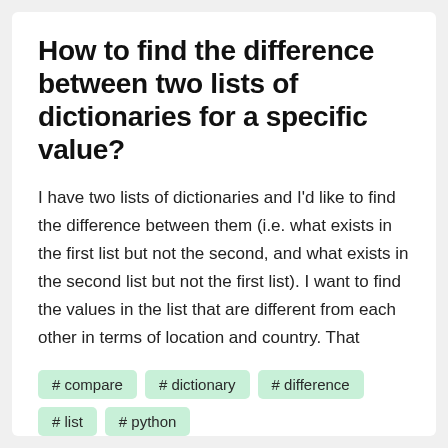How to find the difference between two lists of dictionaries for a specific value?
I have two lists of dictionaries and I'd like to find the difference between them (i.e. what exists in the first list but not the second, and what exists in the second list but not the first list). I want to find the values in the list that are different from each other in terms of location and country. That
# compare
# dictionary
# difference
# list
# python